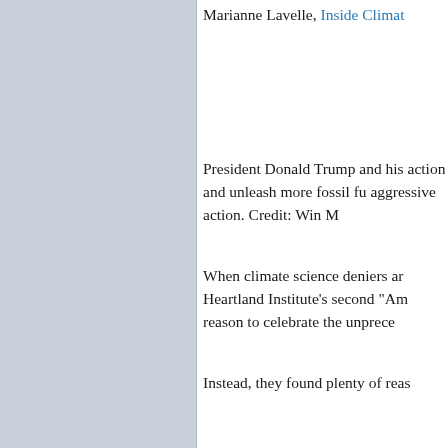Marianne Lavelle, Inside Climat
President Donald Trump and his action and unleash more fossil fu aggressive action. Credit: Win M
When climate science deniers ar Heartland Institute's second "Am reason to celebrate the unprece
Instead, they found plenty of reas
With carbon tax proposals floatin the need for action and states ar grappled with the reality that a fo House and Congress.
Contrarian scientists, policy profe contemplated the spread of the c